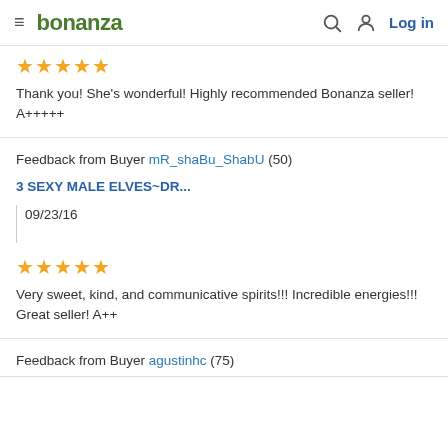bonanza  Log in
Thank you! She's wonderful! Highly recommended Bonanza seller! A+++++
Feedback from Buyer mR_shaBu_ShabU (50)
3 SEXY MALE ELVES~DR...
09/23/16
Very sweet, kind, and communicative spirits!!! Incredible energies!!! Great seller! A++
Feedback from Buyer agustinhc (75)